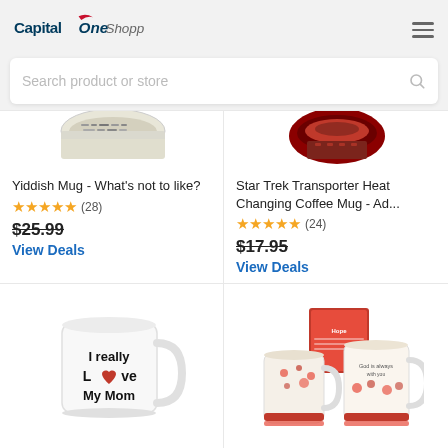Capital One Shopping
Search product or store
[Figure (photo): Partial view of Yiddish Mug product image]
Yiddish Mug - What's not to like?
★★★★★ (28)
$25.99
View Deals
[Figure (photo): Partial view of Star Trek Transporter Heat Changing Coffee Mug product image]
Star Trek Transporter Heat Changing Coffee Mug - Ad...
★★★★★ (24)
$17.95
View Deals
[Figure (photo): White mug with text 'I really Love My Mom' with a red heart]
[Figure (photo): Set of decorative mugs with floral patterns and 'Hope' text]